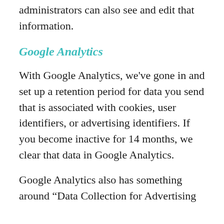administrators can also see and edit that information.
Google Analytics
With Google Analytics, we’ve gone in and set up a retention period for data you send that is associated with cookies, user identifiers, or advertising identifiers. If you become inactive for 14 months, we clear that data in Google Analytics.
Google Analytics also has something around “Data Collection for Advertising